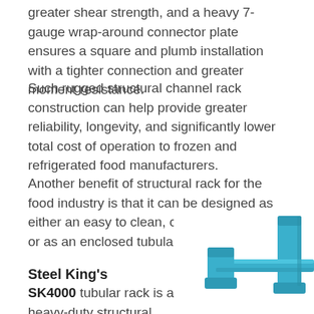greater shear strength, and a heavy 7-gauge wrap-around connector plate ensures a square and plumb installation with a tighter connection and greater moment resistance.
Such rugged structural channel rack construction can help provide greater reliability, longevity, and significantly lower total cost of operation to frozen and refrigerated food manufacturers.
Another benefit of structural rack for the food industry is that it can be designed as either an easy to clean, open channel rack or as an enclosed tubular rack.
Steel King's
SK4000 tubular rack is a heavy-duty structural
[Figure (photo): Blue steel tubular rack connector/post component shown in partial view at bottom right of page]